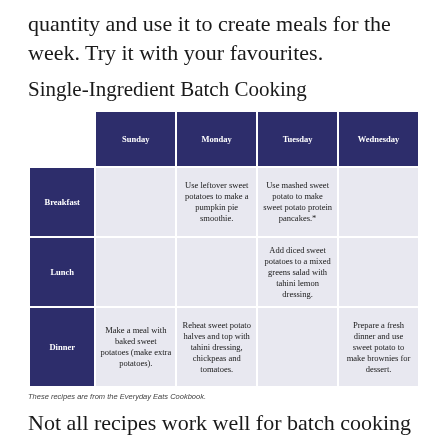quantity and use it to create meals for the week. Try it with your favourites.
Single-Ingredient Batch Cooking
|  | Sunday | Monday | Tuesday | Wednesday |
| --- | --- | --- | --- | --- |
| Breakfast |  | Use leftover sweet potatoes to make a pumpkin pie smoothie. | Use mashed sweet potato to make sweet potato protein pancakes.* |  |
| Lunch |  |  | Add diced sweet potatoes to a mixed greens salad with tahini lemon dressing. |  |
| Dinner | Make a meal with baked sweet potatoes (make extra potatoes). | Reheat sweet potato halves and top with tahini dressing, chickpeas and tomatoes. |  | Prepare a fresh dinner and use sweet potato to make brownies for dessert. |
These recipes are from the Everyday Eats Cookbook.
Not all recipes work well for batch cooking